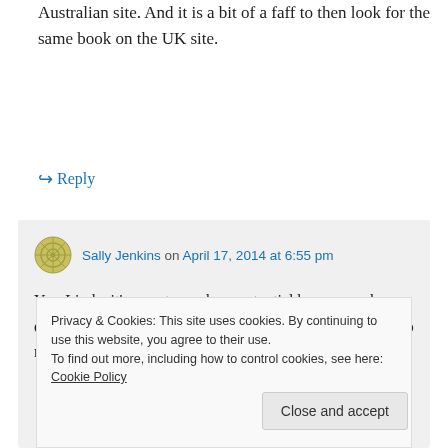Australian site. And it is a bit of a faff to then look for the same book on the UK site.
↪ Reply
Sally Jenkins on April 17, 2014 at 6:55 pm
Yes, Linda, it's easy to see how potential buyers can be quickly put off bothering to buy a book because it's just too much
Privacy & Cookies: This site uses cookies. By continuing to use this website, you agree to their use.
To find out more, including how to control cookies, see here: Cookie Policy